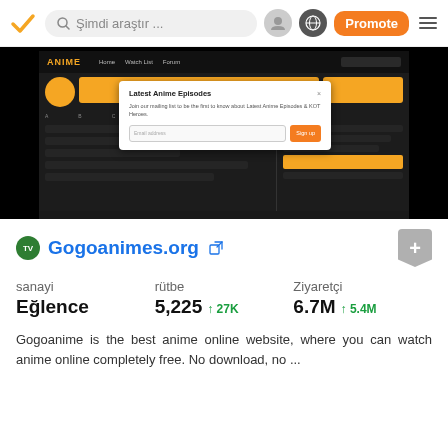Şimdi araştır ... Promote
[Figure (screenshot): Screenshot of Gogoanimes.org website with a modal popup for 'Latest Anime Episodes' email signup]
TV Gogoanimes.org
sanayi: Eğlence | rütbe: 5,225 ↑27K | Ziyaretçi: 6.7M ↑5.4M
Gogoanime is the best anime online website, where you can watch anime online completely free. No download, no ...